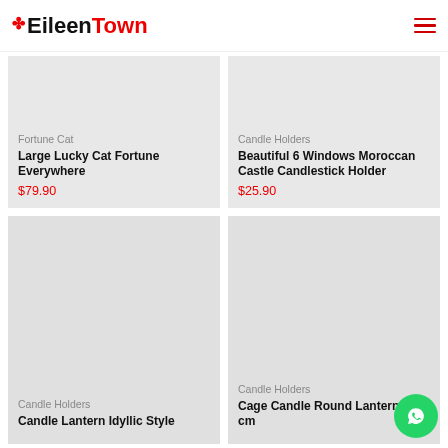EileenTown
Fortune Cat
Large Lucky Cat Fortune Everywhere
$79.90
Candle Holders
Beautiful 6 Windows Moroccan Castle Candlestick Holder
$25.90
[Figure (photo): Product image placeholder – Candle Lantern Idyllic Style]
Candle Holders
Candle Lantern Idyllic Style
[Figure (photo): Product image placeholder – Cage Candle Round Lantern 14 cm]
Candle Holders
Cage Candle Round Lantern 14 cm